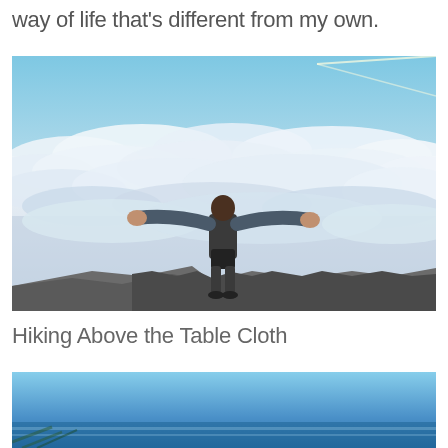way of life that’s different from my own.
[Figure (photo): Person standing on rocky outcrop above clouds with arms outstretched, viewed from behind, blue sky with sun rays above.]
Hiking Above the Table Cloth
[Figure (photo): Partial photo showing bright blue sky and water/landscape at the bottom of the page.]